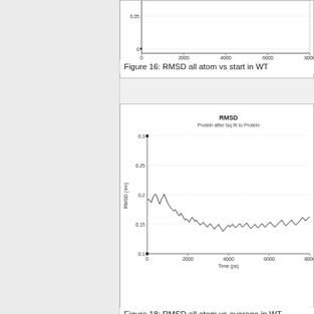[Figure (continuous-plot): Partial RMSD all atom vs start in WT plot, showing bottom portion with x-axis labeled Time (ps) with ticks at 0, 2000, 4000, 6000, 8000, y-axis showing values near 0 and 0.05]
Figure 16: RMSD all atom vs start in WT
[Figure (continuous-plot): RMSD all atom vs average in WT. Line chart showing Protein after lsq fit to Protein. Y-axis RMSD (nm) ranging from 0.1 to 0.3, x-axis Time (ps) from 0 to 8000+. The signal starts around 0.19, decreases and stabilizes around 0.15 nm.]
Figure 18: RMSD all atom vs average in WT